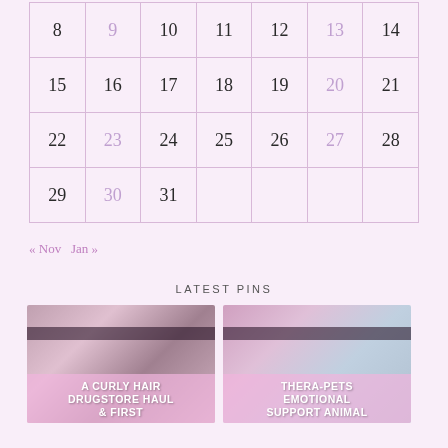| 8 | 9 | 10 | 11 | 12 | 13 | 14 |
| 15 | 16 | 17 | 18 | 19 | 20 | 21 |
| 22 | 23 | 24 | 25 | 26 | 27 | 28 |
| 29 | 30 | 31 |  |  |  |  |
« Nov   Jan »
LATEST PINS
[Figure (photo): A curly hair drugstore haul product photo with text overlay: A CURLY HAIR DRUGSTORE HAUL & FIRST]
[Figure (photo): Thera-pets emotional support animal product photo with text overlay: THERA-PETS EMOTIONAL SUPPORT ANIMAL]